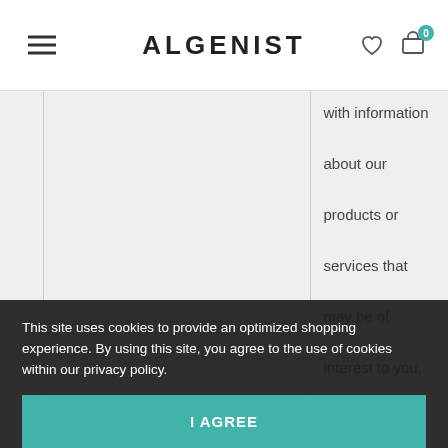ALGENIST
with information about our products or services that may be of interest to you,
Developing additional products or services or
Communicating
example to
This site uses cookies to provide an optimized shopping experience. By using this site, you agree to the use of cookies within our privacy policy.
I AGREE